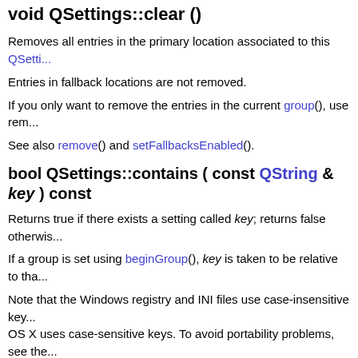void QSettings::clear ()
Removes all entries in the primary location associated to this QSettings object.
Entries in fallback locations are not removed.
If you only want to remove the entries in the current group(), use remove() with an empty string.
See also remove() and setFallbacksEnabled().
bool QSettings::contains ( const QString & key ) const
Returns true if there exists a setting called key; returns false otherwise.
If a group is set using beginGroup(), key is taken to be relative to that group.
Note that the Windows registry and INI files use case-insensitive keys, whereas OS X uses case-sensitive keys. To avoid portability problems, see the QSettings documentation.
See also value() and setValue().
Format QSettings::defaultFormat ()   [static]
Returns default file format used for storing settings for the QSettings constructor. Unless set, QSettings::NativeFormat is used.